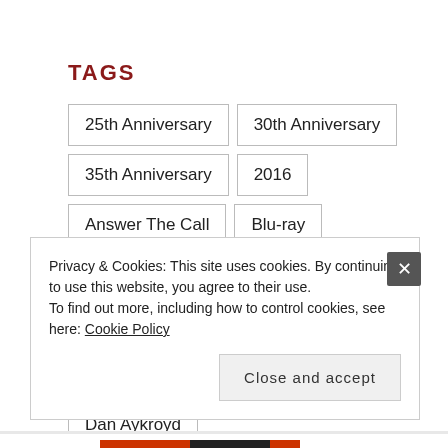TAGS
25th Anniversary
30th Anniversary
35th Anniversary
2016
Answer The Call
Blu-ray
Collectibles
Comic Books
Comics
Costumes
Cryptozoic Entertainment
Dan Aykroyd
Dan Schoening
Diamond Select Toys
Privacy & Cookies: This site uses cookies. By continuing to use this website, you agree to their use.
To find out more, including how to control cookies, see here: Cookie Policy